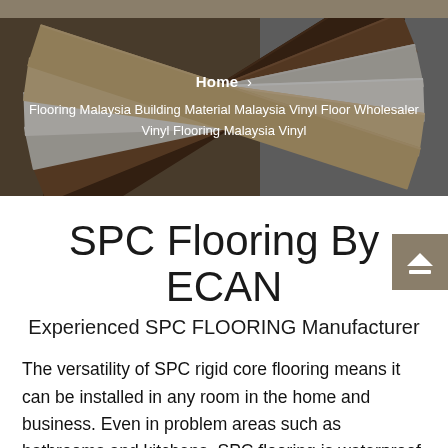[Figure (photo): Fan of flooring/vinyl plank samples in various wood colors (dark brown, white, light wood tones) fanned out on a grey background, with a dark overlay. Navigation breadcrumb visible: Home > Flooring Malaysia Building Material Malaysia Vinyl Floor Wholesaler Vinyl Flooring Malaysia Vinyl]
Home › Flooring Malaysia Building Material Malaysia Vinyl Floor Wholesaler Vinyl Flooring Malaysia Vinyl
SPC Flooring By ECAN
Experienced SPC FLOORING Manufacturer
The versatility of SPC rigid core flooring means it can be installed in any room in the home and business. Even in problem areas such as bathrooms and kitchens, SPC flooring is waterproof and therefore perfect for these